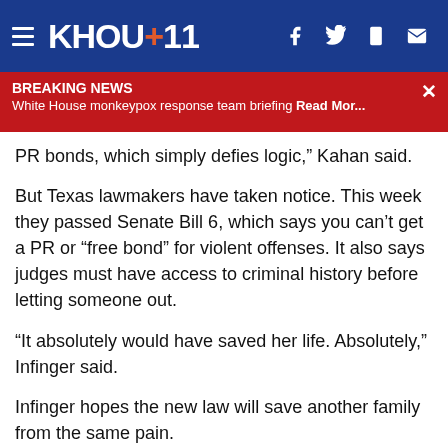KHOU 11
BREAKING NEWS — White House monkeypox response team briefing Read Mor...
PR bonds, which simply defies logic," Kahan said.
But Texas lawmakers have taken notice. This week they passed Senate Bill 6, which says you can't get a PR or "free bond" for violent offenses. It also says judges must have access to criminal history before letting someone out.
"It absolutely would have saved her life. Absolutely," Infinger said.
Infinger hopes the new law will save another family from the same pain.
"I feel like finally they are doing something, because they are seeing the ramifications of bond reform," Infinger said.
The governor still has to sign the bill into law, and there will